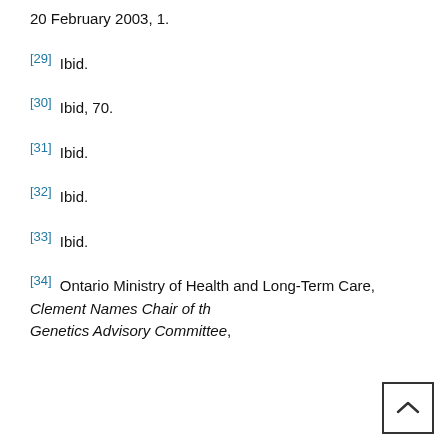20 February 2003, 1.
[29] Ibid.
[30] Ibid, 70.
[31] Ibid.
[32] Ibid.
[33] Ibid.
[34] Ontario Ministry of Health and Long-Term Care, Clement Names Chair of the Genetics Advisory Committee,